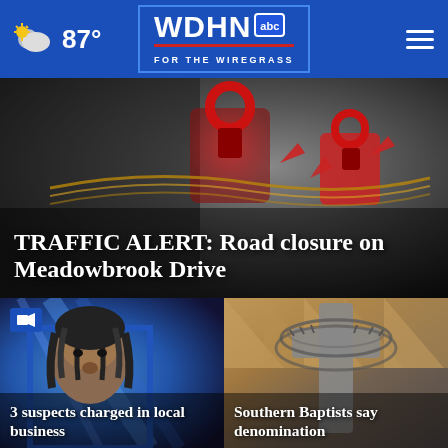WDHN ABC FOR THE WIREGRASS — 87°
[Figure (photo): Close-up photo of red padlocks and chains on a barbed wire fence, dark moody tones]
TRAFFIC ALERT: Road closure on Meadowbrook Drive
[Figure (photo): Mugshot photo of a suspect with dreadlocks, WDHN news studio background in blue]
3 suspects charged in local business
[Figure (photo): Photo of a large church cross with barbed wire coils, brick and tile building exterior]
Southern Baptists say denomination